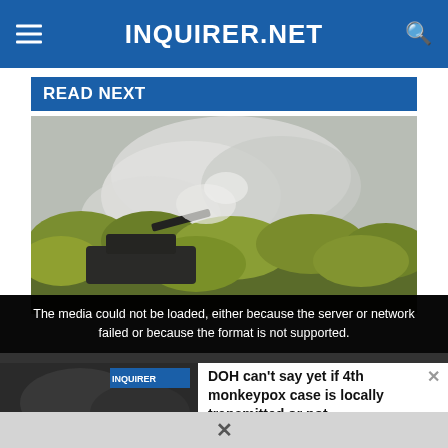INQUIRER.NET
READ NEXT
[Figure (photo): Military tank partially hidden by smoke and yellow-green foliage]
The media could not be loaded, either because the server or network failed or because the format is not supported.
[Figure (screenshot): Video thumbnail showing military scene with text: DOH CAN'T SAY YET IF 4TH MONKEYPOX CASE IS LOCALLY TRANSMITTED OR NOT]
DOH can't say yet if 4th monkeypox case is locally transmitted or not